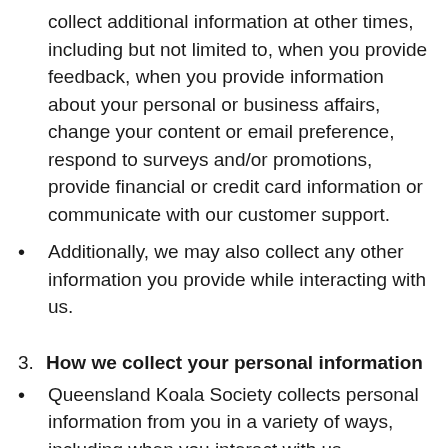collect additional information at other times, including but not limited to, when you provide feedback, when you provide information about your personal or business affairs, change your content or email preference, respond to surveys and/or promotions, provide financial or credit card information or communicate with our customer support.
Additionally, we may also collect any other information you provide while interacting with us.
3. How we collect your personal information
Queensland Koala Society collects personal information from you in a variety of ways, including when you interact with us